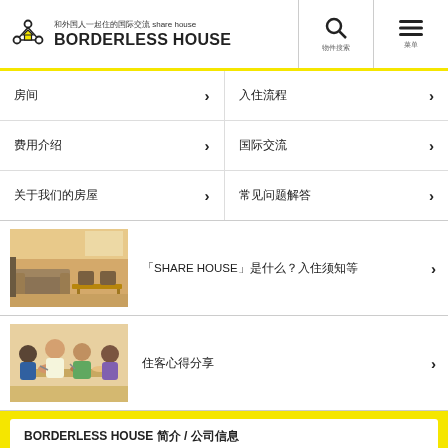和外国人一起住的国际交流 share house BORDERLESS HOUSE
房间
入住流程
费用介绍
国际交流
关于我们的房屋
常见问题解答
[Figure (photo): Interior photo of a shared house living room with sofas and dining area]
「SHARE HOUSE」是什么？入住须知等
[Figure (photo): Photo of a group of people sharing a meal together at a table]
住客心得分享
BORDERLESS HOUSE 简介 / 公司信息